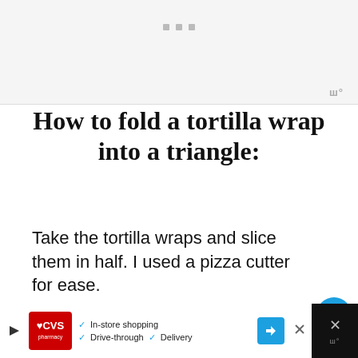[Figure (screenshot): Gray top bar with three small square dots/icons and a logo mark in the top right corner]
How to fold a tortilla wrap into a triangle:
Take the tortilla wraps and slice them in half. I used a pizza cutter for ease.
[Figure (photo): Photo of tortilla wraps sliced in half on a red patterned surface]
[Figure (screenshot): CVS Pharmacy advertisement banner: In-store shopping, Drive-through, Delivery]